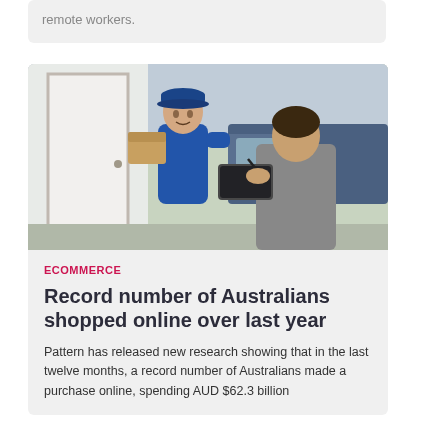remote workers.
[Figure (photo): A delivery person in a blue uniform and cap handing packages to a recipient who is signing a tablet or clipboard at a doorway.]
ECOMMERCE
Record number of Australians shopped online over last year
Pattern has released new research showing that in the last twelve months, a record number of Australians made a purchase online, spending AUD $62.3 billion